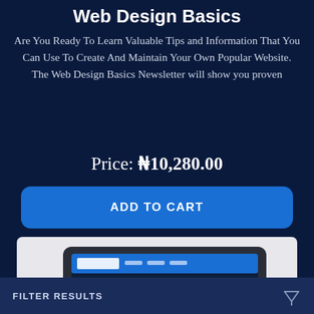Web Design Basics
Are You Ready To Learn Valuable Tips and Information That You Can Use To Create And Maintain Your Own Popular Website. The Web Design Basics Newsletter will show you proven
Price: ₦10,280.00
ADD TO CART
[Figure (photo): A laptop/tablet device showing a website on screen, photographed at an angle against a light gray background]
FILTER RESULTS